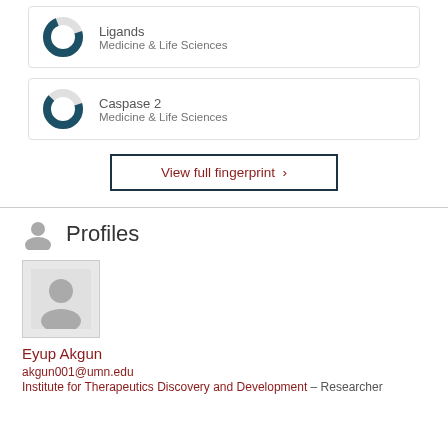[Figure (donut-chart): Donut chart for Ligands - Medicine & Life Sciences]
Ligands
Medicine & Life Sciences
[Figure (donut-chart): Donut chart for Caspase 2 - Medicine & Life Sciences]
Caspase 2
Medicine & Life Sciences
View full fingerprint >
Profiles
[Figure (photo): Placeholder profile photo for Eyup Akgun]
Eyup Akgun
akgun001@umn.edu
Institute for Therapeutics Discovery and Development – Researcher